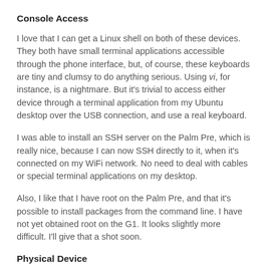Console Access
I love that I can get a Linux shell on both of these devices. They both have small terminal applications accessible through the phone interface, but, of course, these keyboards are tiny and clumsy to do anything serious. Using vi, for instance, is a nightmare. But it's trivial to access either device through a terminal application from my Ubuntu desktop over the USB connection, and use a real keyboard.
I was able to install an SSH server on the Palm Pre, which is really nice, because I can now SSH directly to it, when it's connected on my WiFi network. No need to deal with cables or special terminal applications on my desktop.
Also, I like that I have root on the Palm Pre, and that it's possible to install packages from the command line. I have not yet obtained root on the G1. It looks slightly more difficult. I'll give that a shot soon.
Physical Device